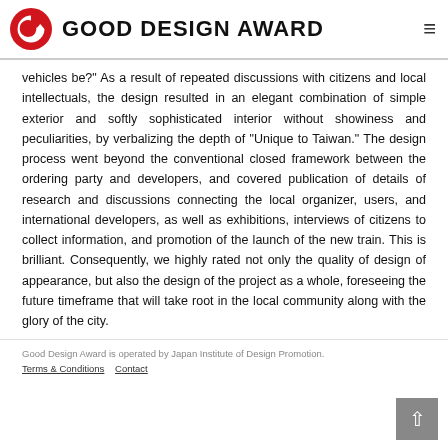GOOD DESIGN AWARD
vehicles be?" As a result of repeated discussions with citizens and local intellectuals, the design resulted in an elegant combination of simple exterior and softly sophisticated interior without showiness and peculiarities, by verbalizing the depth of "Unique to Taiwan." The design process went beyond the conventional closed framework between the ordering party and developers, and covered publication of details of research and discussions connecting the local organizer, users, and international developers, as well as exhibitions, interviews of citizens to collect information, and promotion of the launch of the new train. This is brilliant. Consequently, we highly rated not only the quality of design of appearance, but also the design of the project as a whole, foreseeing the future timeframe that will take root in the local community along with the glory of the city.
Good Design Award is operated by Japan Institute of Design Promotion. Terms & Conditions  Contact